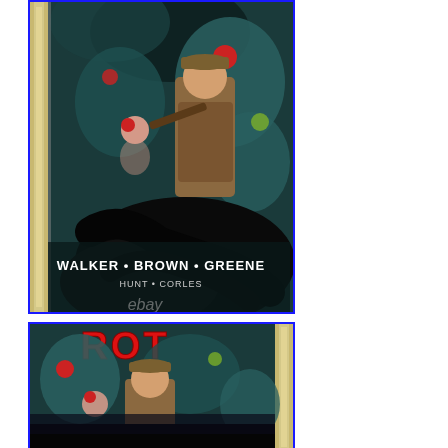[Figure (photo): Comic book cover shown in a graded plastic case (CGC slab). The cover features stylized art of a young man in a cap and jacket fighting monsters/creatures. At the bottom of the cover: 'WALKER • BROWN • GREENE' with smaller credits below. An eBay watermark is visible. The slab has a blue label border.]
[Figure (photo): Second photo of the same graded comic book, showing the front cover at a slightly different angle. The title 'ROT' is visible in red letters at the top. Same creature/monster artwork visible. The slab spine is visible on the right side.]